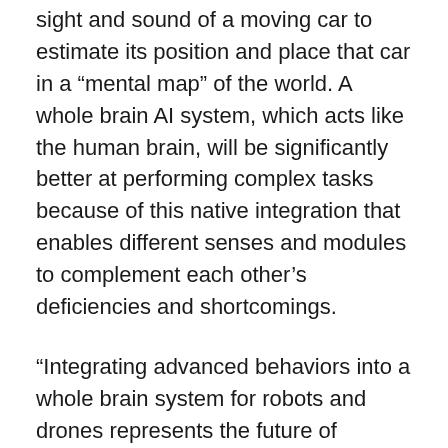sight and sound of a moving car to estimate its position and place that car in a “mental map” of the world. A whole brain AI system, which acts like the human brain, will be significantly better at performing complex tasks because of this native integration that enables different senses and modules to complement each other’s deficiencies and shortcomings.
“Integrating advanced behaviors into a whole brain system for robots and drones represents the future of artificial intelligence,” explained Massimiliano “Max” Versace, Neurala co-founder and CEO. “We’re providing a key technological element at a time when the robotics market is poised to explode. Neurala can now give devices the ability to navigate and understand the world in the same they way that